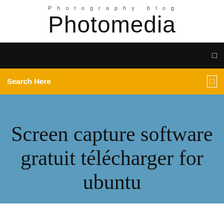Photography blog
Photomedia
[Figure (screenshot): Black navigation bar with a small square icon on the right]
Search Here
Screen capture software gratuit télécharger for ubuntu